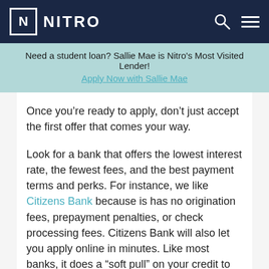NITRO
Need a student loan? Sallie Mae is Nitro's Most Visited Lender! Apply Now with Sallie Mae
Once you’re ready to apply, don’t just accept the first offer that comes your way.
Look for a bank that offers the lowest interest rate, the fewest fees, and the best payment terms and perks. For instance, we like Citizens Bank because is has no origination fees, prepayment penalties, or check processing fees. Citizens Bank will also let you apply online in minutes. Like most banks, it does a “soft pull” on your credit to make an initial offer, but this won’t impact your credit score.